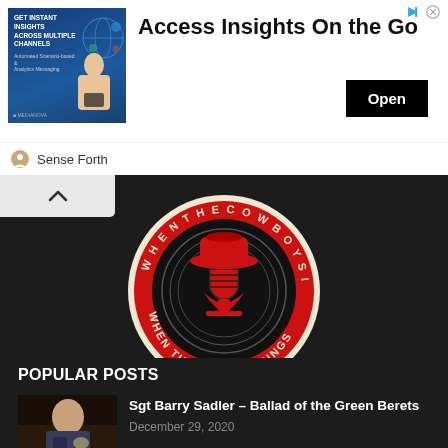[Figure (infographic): Advertisement banner with blue background image showing channels/analytics imagery, person using phone. Text: GET INSTANT INSIGHTS ACROSS MULTIPLE CHANNELS. Ad title: Access Insights On the Go. Open button. Sense Forth branding.]
Access Insights On the Go
Open
Sense Forth
[Figure (logo): When The Cowboy Sings podcast logo — circular red and black badge with vintage microphone wearing a cowboy hat, text around the border reading WHEN THE COWBOY SINGS]
POPULAR POSTS
[Figure (photo): Thumbnail photo of Sgt Barry Sadler in military uniform]
Sgt Barry Sadler – Ballad of the Green Berets
December 29, 2020